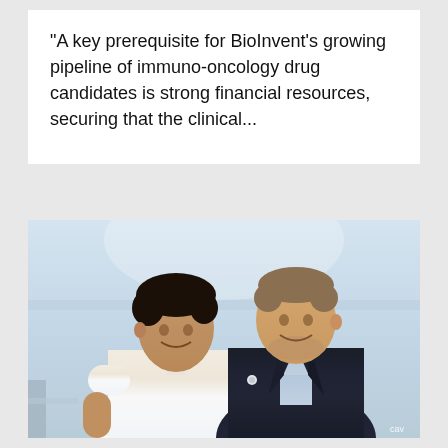"A key prerequisite for BioInvent's growing pipeline of immuno-oncology drug candidates is strong financial resources, securing that the clinical...
[Figure (photo): Two men standing together smiling. Left person wears a white shirt, right person wears a dark navy blazer over a light blue shirt. Indoor/outdoor setting with bright background suggesting a rooftop or balcony with city view. Small watermark/credit 'cav' in bottom right corner.]